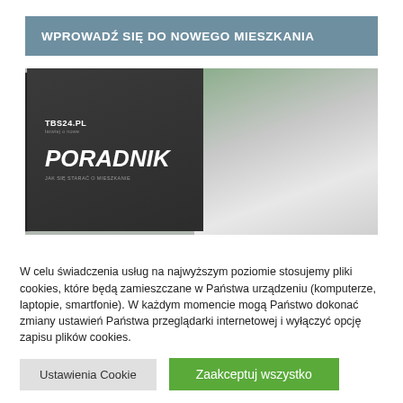WPROWADŹ SIĘ DO NOWEGO MIESZKANIA
[Figure (photo): Stack of dark grey books/guides with 'TBS24.PL PORADNIK' text on the cover, in front of a modern apartment building exterior with balcony and trees]
W celu świadczenia usług na najwyższym poziomie stosujemy pliki cookies, które będą zamieszczane w Państwa urządzeniu (komputerze, laptopie, smartfonie). W każdym momencie mogą Państwo dokonać zmiany ustawień Państwa przeglądarki internetowej i wyłączyć opcję zapisu plików cookies.
Ustawienia Cookie
Zaakceptuj wszystko